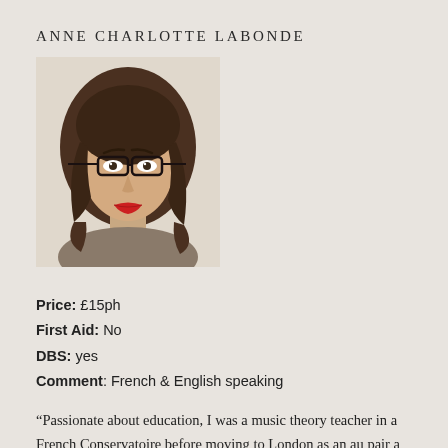ANNE CHARLOTTE LABONDE
[Figure (photo): Portrait photo of Anne Charlotte Labonde, a young woman with brown wavy hair, glasses with dark frames, and red lipstick, wearing a neutral-toned top.]
Price: £15ph
First Aid: No
DBS: yes
Comment: French & English speaking
“Passionate about education, I was a music theory teacher in a French Conservatoire before moving to London as an au pair a few years ago. I have been